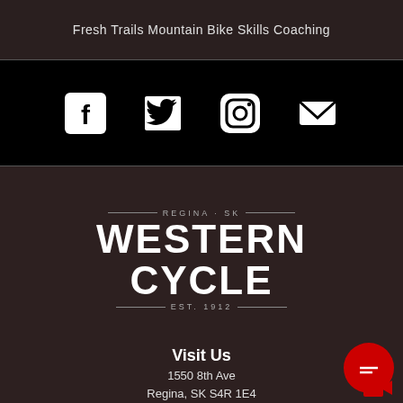Fresh Trails Mountain Bike Skills Coaching
[Figure (infographic): Social media icons row: Facebook, Twitter, Instagram, Email on black background]
[Figure (logo): Western Cycle logo. Regina · SK, WESTERN CYCLE, EST. 1912, on dark brown background]
Visit Us
1550 8th Ave
Regina, SK S4R 1E4